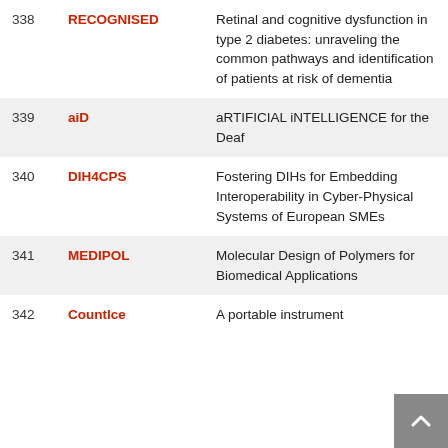| # | Acronym | Title |
| --- | --- | --- |
| 338 | RECOGNISED | Retinal and cognitive dysfunction in type 2 diabetes: unraveling the common pathways and identification of patients at risk of dementia |
| 339 | aiD | aRTIFICIAL iNTELLIGENCE for the Deaf |
| 340 | DIH4CPS | Fostering DIHs for Embedding Interoperability in Cyber-Physical Systems of European SMEs |
| 341 | MEDIPOL | Molecular Design of Polymers for Biomedical Applications |
| 342 | Countlce | A portable instrument... |